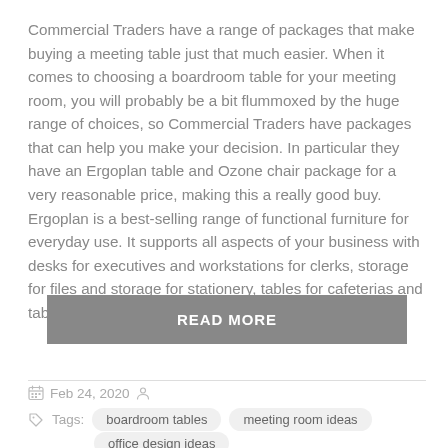Commercial Traders have a range of packages that make buying a meeting table just that much easier. When it comes to choosing a boardroom table for your meeting room, you will probably be a bit flummoxed by the huge range of choices, so Commercial Traders have packages that can help you make your decision. In particular they have an Ergoplan table and Ozone chair package for a very reasonable price, making this a really good buy. Ergoplan is a best-selling range of functional furniture for everyday use. It supports all aspects of your business with desks for executives and workstations for clerks, storage for files and storage for stationery, tables for cafeterias and tables for meetings.
READ MORE
Feb 24, 2020
Tags: boardroom tables  meeting room ideas  office design ideas